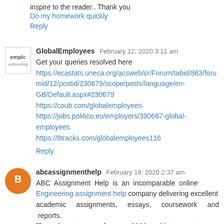inspire to the reader.. Thank you
Do my homework quickly
Reply
GlobalEmployees  February 12, 2020 3:11 am
Get your queries resolved here https://ecastats.uneca.org/acsweb/cr/Forum/tabid/863/forumid/12/postid/230679/scope/posts/language/en-GB/Default.aspx#230679 https://coub.com/globalemployees https://jobs.politico.eu/employers/390667-global-employees https://8tracks.com/globalemployees116
Reply
abcassignmenthelp  February 19, 2020 2:37 am
ABC Assignment Help is an incomparable online Engineering assignment help company delivering excellent academic assignments, essays, coursework and reports. Through a team of over 3000 subject experts we ensure